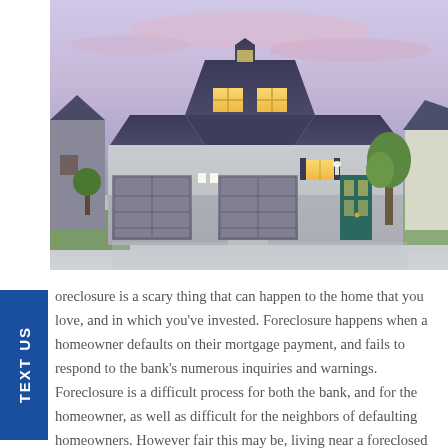[Figure (photo): Photograph of a large two-story suburban house with dark blue/grey roof, white and grey siding, three-car garage, illuminated windows at dusk, tree to the right, wet driveway, pink and blue sky]
TEXT US
oreclosure is a scary thing that can happen to the home that you love, and in which you've invested. Foreclosure happens when a homeowner defaults on their mortgage payment, and fails to respond to the bank's numerous inquiries and warnings. Foreclosure is a difficult process for both the bank, and for the homeowner, as well as difficult for the neighbors of defaulting homeowners. However fair this may be, living near a foreclosed home,